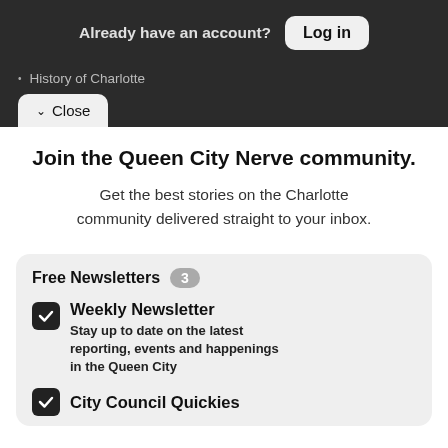Already have an account? Log in
History of Charlotte
Close
Join the Queen City Nerve community.
Get the best stories on the Charlotte community delivered straight to your inbox.
Free Newsletters 3
Weekly Newsletter — Stay up to date on the latest reporting, events and happenings in the Queen City
City Council Quickies